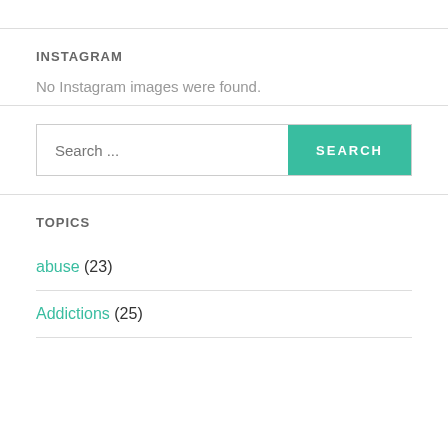INSTAGRAM
No Instagram images were found.
[Figure (screenshot): Search bar with text input placeholder 'Search ...' and a teal SEARCH button]
TOPICS
abuse (23)
Addictions (25)